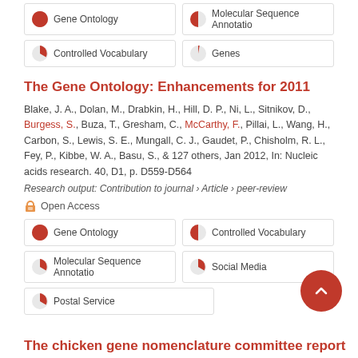[Figure (other): Tag cell with pie chart icon showing ~100% for Gene Ontology]
[Figure (other): Tag cell with pie chart icon showing ~50% for Molecular Sequence Annotatio]
[Figure (other): Tag cell with pie chart icon showing ~20% for Controlled Vocabulary]
[Figure (other): Tag cell with pie chart icon showing ~8% for Genes]
The Gene Ontology: Enhancements for 2011
Blake, J. A., Dolan, M., Drabkin, H., Hill, D. P., Ni, L., Sitnikov, D., Burgess, S., Buza, T., Gresham, C., McCarthy, F., Pillai, L., Wang, H., Carbon, S., Lewis, S. E., Mungall, C. J., Gaudet, P., Chisholm, R. L., Fey, P., Kibbe, W. A., Basu, S., & 127 others, Jan 2012, In: Nucleic acids research. 40, D1, p. D559-D564
Research output: Contribution to journal › Article › peer-review
Open Access
[Figure (other): Tag cell with pie chart icon showing ~100% for Gene Ontology]
[Figure (other): Tag cell with pie chart icon showing ~50% for Controlled Vocabulary]
[Figure (other): Tag cell with pie chart icon showing ~20% for Molecular Sequence Annotatio]
[Figure (other): Tag cell with pie chart icon showing ~20% for Social Media]
[Figure (other): Tag cell with pie chart icon showing ~20% for Postal Service]
The chicken gene nomenclature committee report